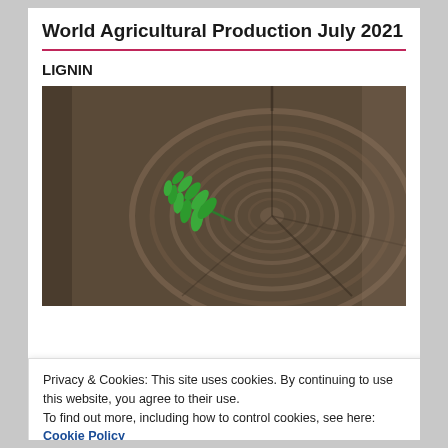World Agricultural Production July 2021
LIGNIN
[Figure (photo): Cross-section of a tree trunk showing growth rings with a single green leaf (fern-like) placed on top of the wood surface. The wood has a dark, textured appearance with visible cracks and concentric ring patterns.]
Privacy & Cookies: This site uses cookies. By continuing to use this website, you agree to their use.
To find out more, including how to control cookies, see here: Cookie Policy
Close and accept
JOIN US ON LINKEDIN!